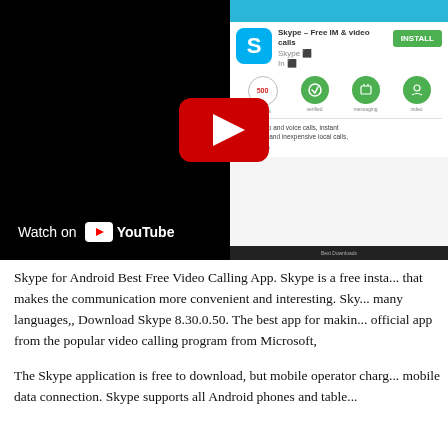[Figure (screenshot): YouTube video embed showing a Skype app store listing screenshot. Left half is black with 'Watch on YouTube' button overlay. Right half shows Skype app listing with blue header, Skype icon, title 'Skype – Free IM & video calls', INSTALL button, feature icons, and description text. A red YouTube play button is centered over the image.]
Skype for Android Best Free Video Calling App. Skype is a free insta... that makes the communication more convenient and interesting. Sky... many languages,, Download Skype 8.30.0.50. The best app for maki... official app from the popular video calling program from Microsoft,
The Skype application is free to download, but mobile operator charg... mobile data connection. Skype supports all Android phones and table...